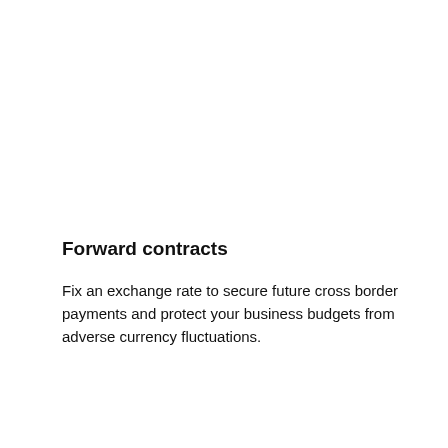Forward contracts
Fix an exchange rate to secure future cross border payments and protect your business budgets from adverse currency fluctuations.